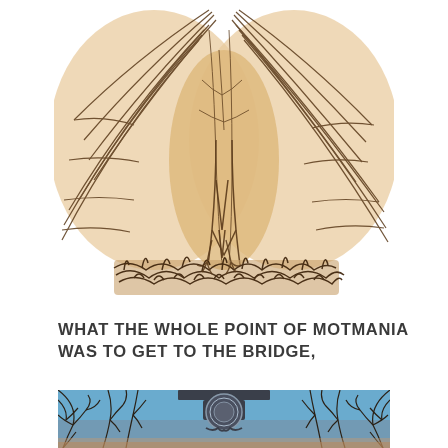[Figure (illustration): A pencil sketch of a large bird (owl or similar) viewed from behind/below, with wings spread wide. The figure is drawn in brown tones on white paper, showing feather details and legs/talons at the bottom. The lower portion has heavy cross-hatching suggesting ground or grass.]
WHAT THE WHOLE POINT OF MOTMANIA WAS TO GET TO THE BRIDGE,
[Figure (photo): A photograph taken looking up at a bridge or gateway structure. A circular medallion/seal with a coat of arms is visible at the top center, flanked by decorative ironwork. Bare winter tree branches frame the image against a blue sky. The gate arch appears to be made of metal with ornate detailing.]